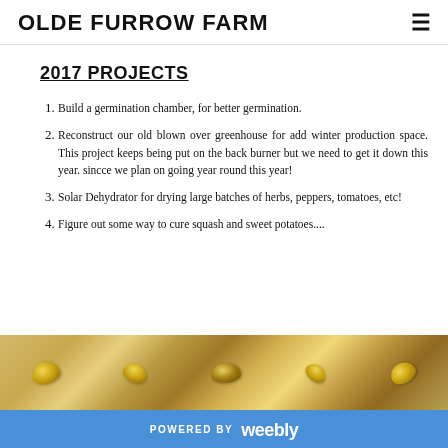OLDE FURROW FARM
2017 PROJECTS
Build a germination chamber, for better germination.
Reconstruct our old blown over greenhouse for add winter production space. This project keeps being put on the back burner but we need to get it down this year. sincce we plan on going year round this year!
Solar Dehydrator for drying large batches of herbs, peppers, tomatoes, etc!
Figure out some way to cure squash and sweet potatoes....
[Figure (photo): Close-up photo of seeds or corn kernels with golden yellow coloring]
POWERED BY weebly